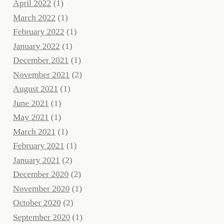April 2022 (1)
March 2022 (1)
February 2022 (1)
January 2022 (1)
December 2021 (1)
November 2021 (2)
August 2021 (1)
June 2021 (1)
May 2021 (1)
March 2021 (1)
February 2021 (1)
January 2021 (2)
December 2020 (2)
November 2020 (1)
October 2020 (2)
September 2020 (1)
August 2020 (1)
July 2020 (1)
May 2020 (1)